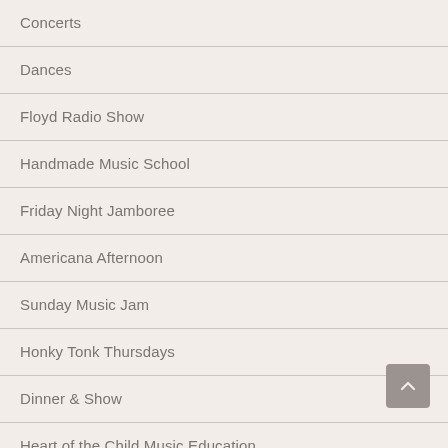Concerts
Dances
Floyd Radio Show
Handmade Music School
Friday Night Jamboree
Americana Afternoon
Sunday Music Jam
Honky Tonk Thursdays
Dinner & Show
Heart of the Child Music Education